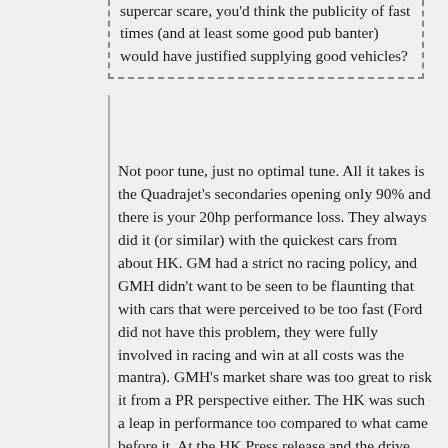supercar scare, you'd think the publicity of fast times (and at least some good pub banter) would have justified supplying good vehicles?
Not poor tune, just no optimal tune. All it takes is the Quadrajet's secondaries opening only 90% and there is your 20hp performance loss. They always did it (or similar) with the quickest cars from about HK. GM had a strict no racing policy, and GMH didn't want to be seen to be flaunting that with cars that were perceived to be too fast (Ford did not have this problem, they were fully involved in racing and win at all costs was the mantra). GMH's market share was too great to risk it from a PR perspective either. The HK was such a leap in performance too compared to what came before it. At the HK Press release and the drive day at Lang Lang the prior week (to meet magazine deadlines) it was all very orchestrated. The 307 Monaros were all auto with 2.78 rear axles (like all prior V8 HK), single exhaust etc, no manual cars. The GTS327's (most (possibly all) with 3.08 rear axles) were not allowed to be driven without a GMH staffer in the car and no-one was allowed to exceed the tacho's 5500rpm redline. All the magazine tests of the car were from these days. Only Rob Luck didn't believe it, and got a private car to test which was tuned right and had a 3.36 rear axle. That test is public record, 15.4s and 130mph top